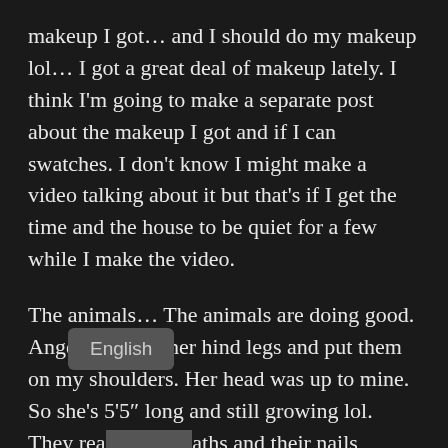makeup I got… and I should do my makeup lol… I got a great deal of makeup lately. I think I'm going to make a separate post about the makeup I got and if I can swatches. I don't know I might make a video talking about it but that's if I get the time and the house to be quiet for a few while I make the video.
The animals… The animals are doing good. Angel stood on her hind legs and put them on my shoulders. Her head was up to mine. So she's 5'5" long and still growing lol. They rea[lly need b]aths and their nails trimmed. Th[ey will p]aw at us when they want